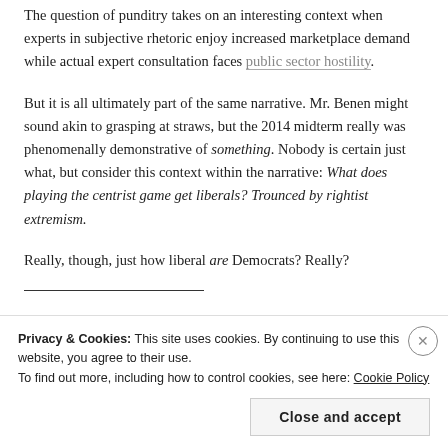The question of punditry takes on an interesting context when experts in subjective rhetoric enjoy increased marketplace demand while actual expert consultation faces public sector hostility.
But it is all ultimately part of the same narrative. Mr. Benen might sound akin to grasping at straws, but the 2014 midterm really was phenomenally demonstrative of something. Nobody is certain just what, but consider this context within the narrative: What does playing the centrist game get liberals? Trounced by rightist extremism.
Really, though, just how liberal are Democrats? Really?
Privacy & Cookies: This site uses cookies. By continuing to use this website, you agree to their use.
To find out more, including how to control cookies, see here: Cookie Policy